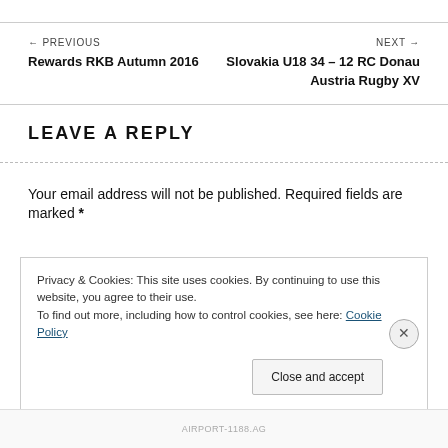← PREVIOUS
Rewards RKB Autumn 2016
NEXT →
Slovakia U18 34 – 12 RC Donau Austria Rugby XV
LEAVE A REPLY
Your email address will not be published. Required fields are marked *
Privacy & Cookies: This site uses cookies. By continuing to use this website, you agree to their use.
To find out more, including how to control cookies, see here: Cookie Policy
Close and accept